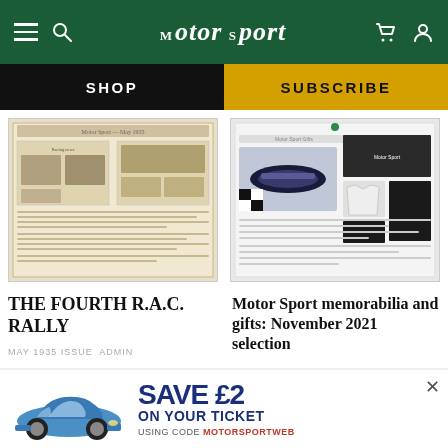Motor Sport
SHOP
SUBSCRIBE
[Figure (photo): Old Motor Sport magazine spread with black and white racing photos and text columns]
[Figure (screenshot): Motor Sport memorabilia and gifts selection page showing various products including car models and a T-shirt]
THE FOURTH R.A.C. RALLY
MAY 1935 ISSUE  ADMIN
Motor Sport memorabilia and gifts: November 2021 selection
NOVEMBER 2021 ISSUE  MOTOR SPORT
[Figure (photo): Partial view of next article card (bottom left)]
[Figure (photo): Partial view of next article card (bottom right)]
[Figure (infographic): Advertisement banner: SAVE £2 ON YOUR TICKET USING CODE MOTORSPORTWEB, with blue Porsche 911 image]